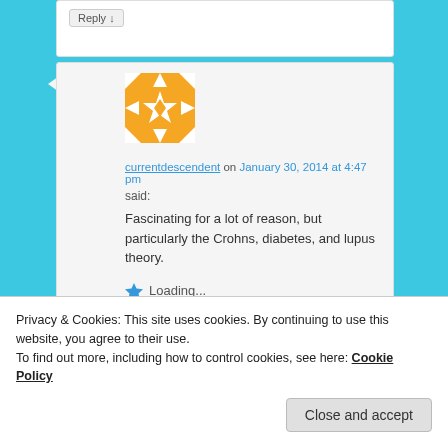Reply ↓
[Figure (illustration): Orange and white geometric quilt-pattern avatar icon]
currentdescendent on January 30, 2014 at 4:47 pm
said:
Fascinating for a lot of reason, but particularly the Crohns, diabetes, and lupus theory.
Loading...
Reply ↓
Privacy & Cookies: This site uses cookies. By continuing to use this website, you agree to their use.
To find out more, including how to control cookies, see here: Cookie Policy
Close and accept